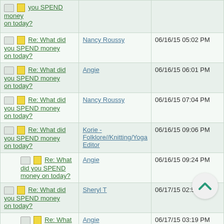| Topic | Author | Date |
| --- | --- | --- |
| Re: What did you SPEND money on today? |  |  |
| Re: What did you SPEND money on today? | Nancy Roussy | 06/16/15 05:02 PM |
| Re: What did you SPEND money on today? | Angie | 06/16/15 06:01 PM |
| Re: What did you SPEND money on today? | Nancy Roussy | 06/16/15 07:04 PM |
| Re: What did you SPEND money on today? | Korie - Folklore//Knitting/Yoga Editor | 06/16/15 09:06 PM |
| Re: What did you SPEND money on today? | Angie | 06/16/15 09:24 PM |
| Re: What did you SPEND money on today? | Sheryl T | 06/17/15 02:55 PM |
| Re: What did you SPEND money on today? | Angie | 06/17/15 03:19 PM |